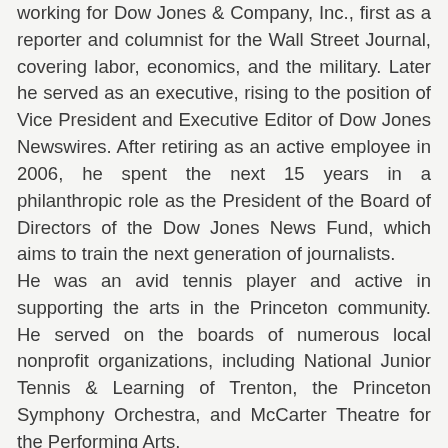working for Dow Jones & Company, Inc., first as a reporter and columnist for the Wall Street Journal, covering labor, economics, and the military. Later he served as an executive, rising to the position of Vice President and Executive Editor of Dow Jones Newswires. After retiring as an active employee in 2006, he spent the next 15 years in a philanthropic role as the President of the Board of Directors of the Dow Jones News Fund, which aims to train the next generation of journalists.
He was an avid tennis player and active in supporting the arts in the Princeton community. He served on the boards of numerous local nonprofit organizations, including National Junior Tennis & Learning of Trenton, the Princeton Symphony Orchestra, and McCarter Theatre for the Performing Arts.
Richard is predeceased by his parents, Irving J. and Dorothy (Thome) Levine. He is survived by his loving wife of 58 years, Neil